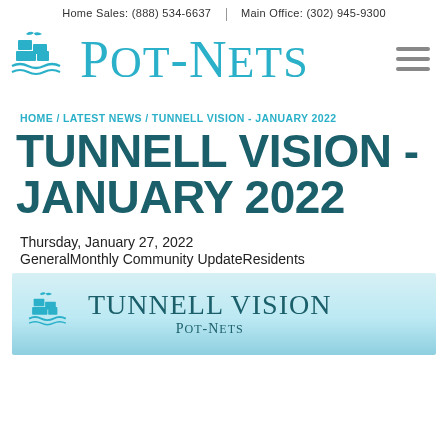Home Sales: (888) 534-6637  |  Main Office: (302) 945-9300
[Figure (logo): Pot-Nets logo with seagull and dock/crates icon in teal, with large teal serif text POT-NETS]
HOME / LATEST NEWS / TUNNELL VISION - JANUARY 2022
TUNNELL VISION - JANUARY 2022
Thursday, January 27, 2022
GeneralMonthly Community UpdateResidents
[Figure (illustration): Tunnell Vision newsletter banner with teal Pot-Nets dock logo on left and text 'TUNNELL VISION Pot-Nets' on light blue background]